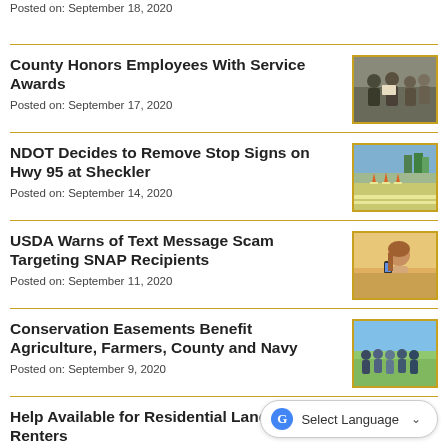Posted on: September 18, 2020
County Honors Employees With Service Awards
Posted on: September 17, 2020
[Figure (photo): Group of people indoors, appears to be an awards ceremony]
NDOT Decides to Remove Stop Signs on Hwy 95 at Sheckler
Posted on: September 14, 2020
[Figure (photo): Road with orange traffic cones, highway intersection]
USDA Warns of Text Message Scam Targeting SNAP Recipients
Posted on: September 11, 2020
[Figure (photo): Woman smiling while looking at phone outdoors]
Conservation Easements Benefit Agriculture, Farmers, County and Navy
Posted on: September 9, 2020
[Figure (photo): Group of people standing outdoors in a field]
Help Available for Residential Landlords, Renters